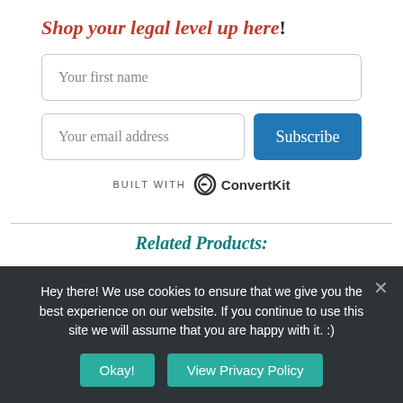Shop your legal level up here!
[Figure (screenshot): Newsletter signup form with 'Your first name' input, 'Your email address' input, and 'Subscribe' button, with 'Built with ConvertKit' branding below]
Related Products:
Hey there! We use cookies to ensure that we give you the best experience on our website. If you continue to use this site we will assume that you are happy with it. :)